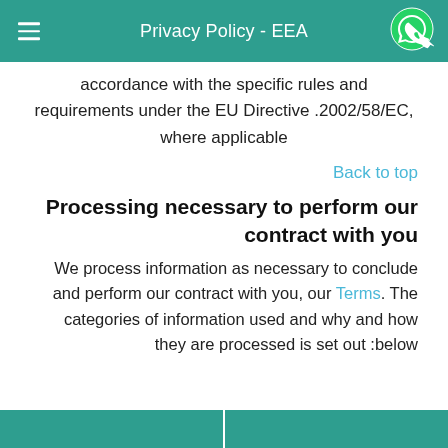Privacy Policy - EEA
accordance with the specific rules and requirements under the EU Directive .2002/58/EC, where applicable
Back to top
Processing necessary to perform our contract with you
We process information as necessary to conclude and perform our contract with you, our Terms. The categories of information used and why and how they are processed is set out :below